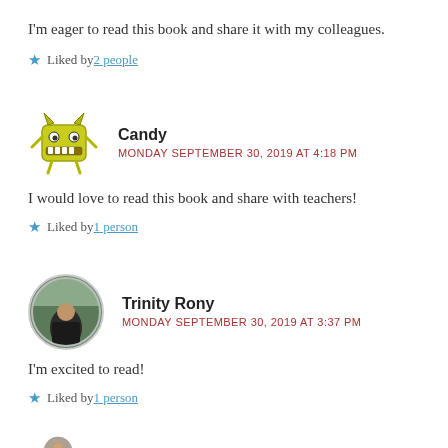I'm eager to read this book and share it with my colleagues.
★ Liked by 2 people
[Figure (illustration): Yellow cartoon monster avatar for user Candy]
Candy
MONDAY SEPTEMBER 30, 2019 AT 4:18 PM
I would love to read this book and share with teachers!
★ Liked by 1 person
[Figure (photo): Circular profile photo of Trinity Rony, a person outdoors in a forest setting]
Trinity Rony
MONDAY SEPTEMBER 30, 2019 AT 3:37 PM
I'm excited to read!
★ Liked by 1 person
[Figure (illustration): Partial view of another user avatar at the bottom of the page]